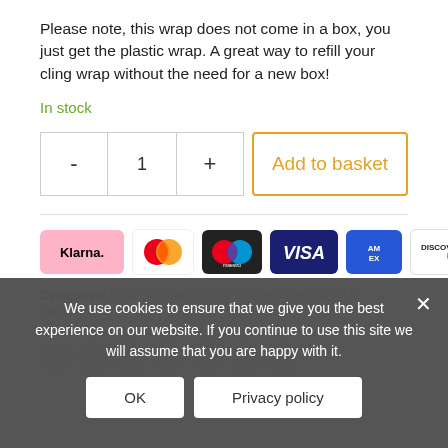Please note, this wrap does not come in a box, you just get the plastic wrap. A great way to refill your cling wrap without the need for a new box!
In stock
[Figure (other): Quantity selector with minus, 1, plus buttons and Add to basket button with orange border]
[Figure (other): Payment icons: Klarna, Mastercard, Maestro, Visa, American Express, Discover]
Categories: Brow Lamination Tools + Accessories, Lash Lift
We use cookies to ensure that we give you the best experience on our website. If you continue to use this site we will assume that you are happy with it.
Like it, Tweet it, Pin it, Share it,...
[Figure (other): Social sharing icons: Facebook, Twitter, Instagram, Pinterest, email, print, WhatsApp]